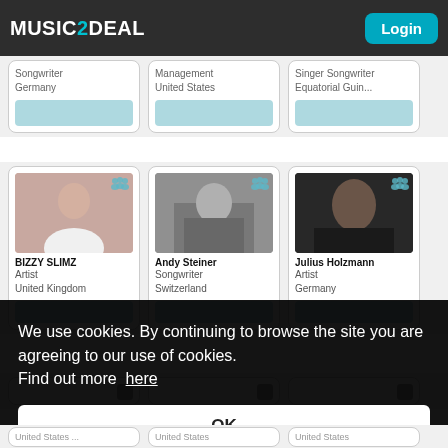MUSIC2DEAL — Login
Songwriter
Germany
Management
United States
Singer Songwriter
Equatorial Guin...
BIZZY SLIMZ
Artist
United Kingdom
Andy Steiner
Songwriter
Switzerland
Julius Holzmann
Artist
Germany
We use cookies. By continuing to browse the site you are agreeing to our use of cookies. Find out more here
OK
United States ...
United States
United States